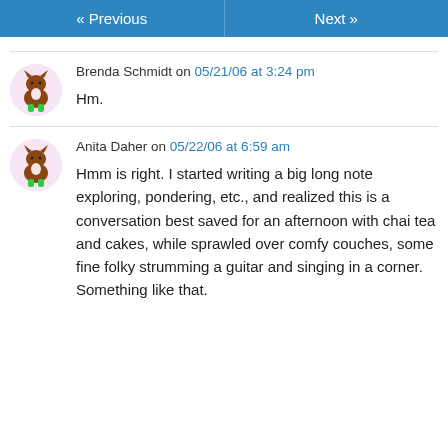« Previous   Next »
Brenda Schmidt on 05/21/06 at 3:24 pm

Hm.
Anita Daher on 05/22/06 at 6:59 am

Hmm is right. I started writing a big long note exploring, pondering, etc., and realized this is a conversation best saved for an afternoon with chai tea and cakes, while sprawled over comfy couches, some fine folky strumming a guitar and singing in a corner. Something like that.